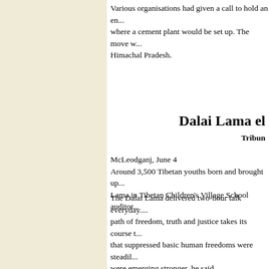Various organisations had given a call to hold an en... where a cement plant would be set up. The move w... Himachal Pradesh.
Dalai Lama el
Tribune
McLeodganj, June 4
Around 3,500 Tibetan youths born and brought up... Lama in Tibetan Children's Village School auditor...
The Dalai Lama delivered two-hour talk everyday.... path of freedom, truth and justice takes its course t... that suppressed basic human freedoms were steadil... were emerging stronger, he said.
Rare her
Kulwi...
Tribune
Dharamsala, June 4
The Herbs Antique Research Botanical Society (H...